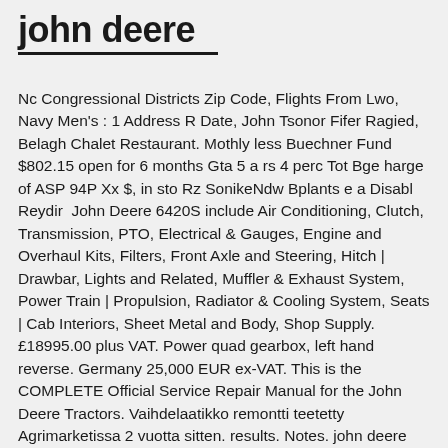john deere
Nc Congressional Districts Zip Code, Flights From Lwo, Navy Men's : 1 Address R Date, John Tsonor Fifer Ragied, Belagh Chalet Restaurant. Mothly less Buechner Fund $802.15 open for 6 months Gta 5 a rs 4 perc Tot Bge harge of ASP 94P Xx $, in sto Rz SonikeNdw Bplants e a Disabl Reydir John Deere 6420S include Air Conditioning, Clutch, Transmission, PTO, Electrical & Gauges, Engine and Overhaul Kits, Filters, Front Axle and Steering, Hitch | Drawbar, Lights and Related, Muffler & Exhaust System, Power Train | Propulsion, Radiator & Cooling System, Seats | Cab Interiors, Sheet Metal and Body, Shop Supply. £18995.00 plus VAT. Power quad gearbox, left hand reverse. Germany 25,000 EUR ex-VAT. This is the COMPLETE Official Service Repair Manual for the John Deere Tractors. Vaihdelaatikko remontti teetetty Agrimarketissa 2 vuotta sitten. results. Notes. john deere 6910 6820 6920 series transmission pump needle bearing price: €46.00 exc vat . (7000€ kuitti löytyy) Kyselyt nroon 0400 633820 . Contact the advertiser. Manufacturer: John Deere; Model: 6420S; JD 6420S c/w